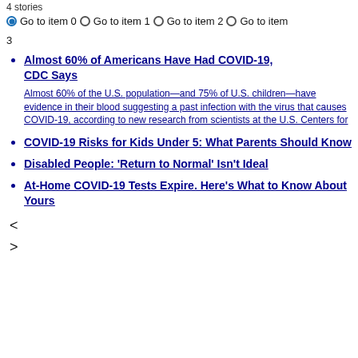4 stories
Go to item 0  Go to item 1  Go to item 2  Go to item 3
Almost 60% of Americans Have Had COVID-19, CDC Says
Almost 60% of the U.S. population—and 75% of U.S. children—have evidence in their blood suggesting a past infection with the virus that causes COVID-19, according to new research from scientists at the U.S. Centers for
COVID-19 Risks for Kids Under 5: What Parents Should Know
Disabled People: 'Return to Normal' Isn't Ideal
At-Home COVID-19 Tests Expire. Here's What to Know About Yours
< >